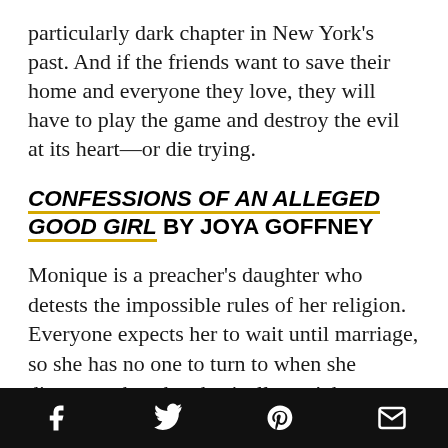particularly dark chapter in New York's past. And if the friends want to save their home and everyone they love, they will have to play the game and destroy the evil at its heart—or die trying.
CONFESSIONS OF AN ALLEGED GOOD GIRL BY JOYA GOFFNEY
Monique is a preacher's daughter who detests the impossible rules of her religion. Everyone expects her to wait until marriage, so she has no one to turn to when she discovers that she physically can't have sex.
[social share icons: Facebook, Twitter, Pinterest, Email]